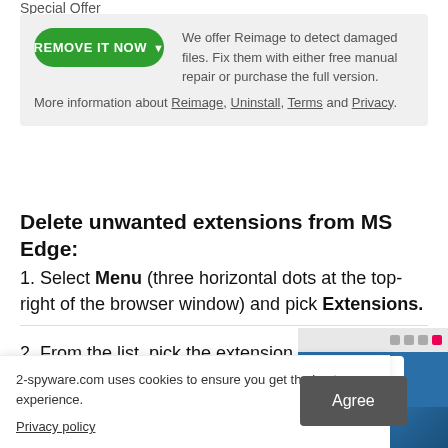Special Offer
We offer Reimage to detect damaged files. Fix them with either free manual repair or purchase the full version.More information about Reimage, Uninstall, Terms and Privacy.
Delete unwanted extensions from MS Edge:
1. Select Menu (three horizontal dots at the top-right of the browser window) and pick Extensions.
2. From the list, pick the extension and click on the Gear icon.
3. Click on Uninstall at the bottom
2-spyware.com uses cookies to ensure you get the best experience.
Privacy policy
[Figure (screenshot): Screenshot of browser extension panel showing Enhancer for YouTube extension card]